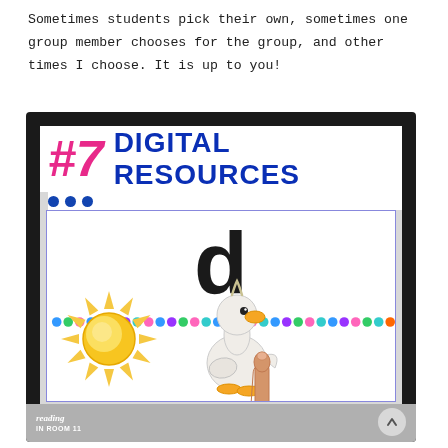Sometimes students pick their own, sometimes one group member chooses for the group, and other times I choose. It is up to you!
[Figure (photo): A photo of a digital whiteboard/screen showing a learning slide labeled '#7 DIGITAL RESOURCES' with the letter 'd' displayed, colorful dots, a sun clipart, a duck clipart, and a finger pointing at the duck. The slide has 'reading IN ROOM 11' watermark. There is a back-to-top arrow button in the bottom right corner.]